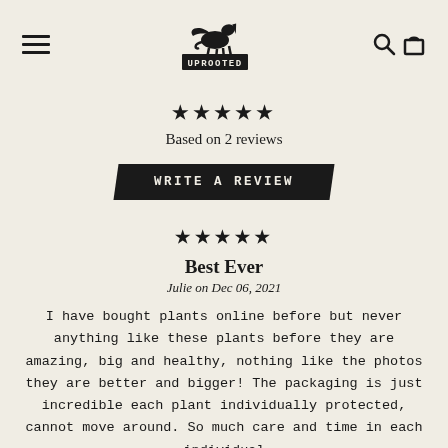UPROOTED (logo with pegasus/unicorn icon)
★★★★★
Based on 2 reviews
WRITE A REVIEW
★★★★★
Best Ever
Julie on Dec 06, 2021
I have bought plants online before but never anything like these plants before they are amazing, big and healthy, nothing like the photos they are better and bigger! The packaging is just incredible each plant individually protected, cannot move around. So much care and time in each individual